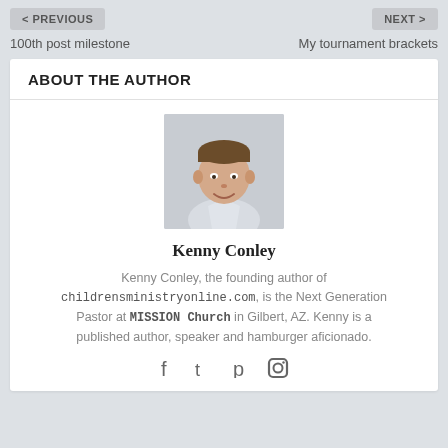< PREVIOUS    NEXT >
100th post milestone    My tournament brackets
ABOUT THE AUTHOR
[Figure (photo): Headshot photo of Kenny Conley, a man smiling, light background]
Kenny Conley
Kenny Conley, the founding author of childrensministryonline.com, is the Next Generation Pastor at MISSION Church in Gilbert, AZ. Kenny is a published author, speaker and hamburger aficionado.
Social icons: Facebook, Twitter, Pinterest, Instagram